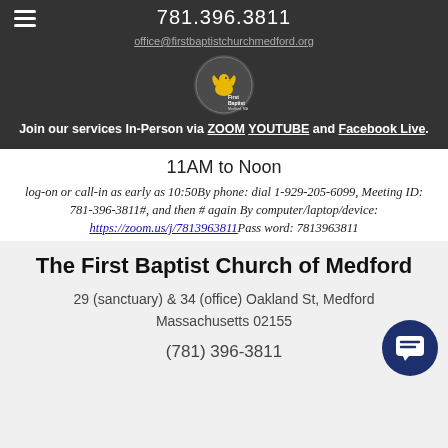781.396.3811
office@firstbaptistchurchmedford.org
[Figure (logo): First Baptist Church of Medford logo with yellow bird/dove and text 'First Baptist Medford, MA']
Join our services In-Person via ZOOM YOUTUBE and Facebook Live.
11AM to Noon
log-on or call-in as early as 10:50By phone: dial 1-929-205-6099, Meeting ID: 781-396-3811#, and then # again By computer/laptop/device: https://zoom.us/j/7813963811 Password: 7813963811
The First Baptist Church of Medford
29 (sanctuary) & 34 (office) Oakland St, Medford Massachusetts 02155
(781) 396-3811